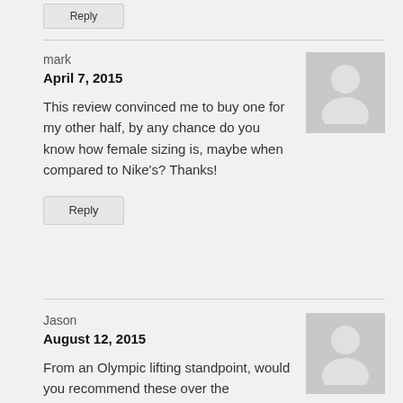Reply
mark
April 7, 2015
This review convinced me to buy one for my other half, by any chance do you know how female sizing is, maybe when compared to Nike’s? Thanks!
[Figure (illustration): Gray placeholder avatar showing silhouette of a person]
Reply
Jason
August 12, 2015
From an Olympic lifting standpoint, would you recommend these over the
[Figure (illustration): Gray placeholder avatar showing silhouette of a person]